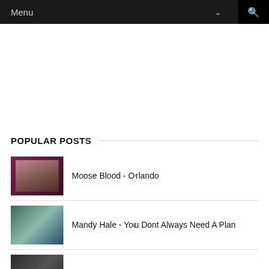Menu
[Figure (other): Advertisement area, blank white space]
POPULAR POSTS
Moose Blood - Orlando
Mandy Hale - You Dont Always Need A Plan
Picture of the Day - Feb. 28, 2012 (Lyric Pic)